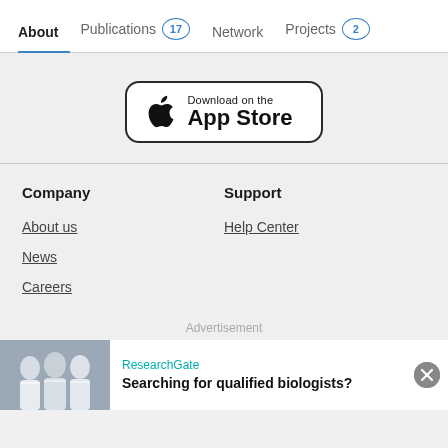About  Publications 17  Network  Projects 2
[Figure (logo): Download on the App Store button with Apple logo]
Company
Support
About us
Help Center
News
Careers
Advertisement
[Figure (photo): Photo of smiling scientists/researchers in lab coats with ResearchGate ad: Searching for qualified biologists?]